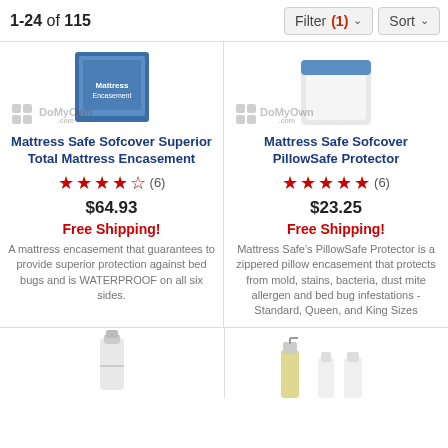1-24 of 115   Filter (1)   Sort
[Figure (photo): Mattress Safe Sofcover Superior Total Mattress Encasement product image with DoMyOwn watermark]
Mattress Safe Sofcover Superior Total Mattress Encasement
★★★★½ (6)
$64.93
Free Shipping!
A mattress encasement that guarantees to provide superior protection against bed bugs and is WATERPROOF on all six sides.
[Figure (photo): Mattress Safe Sofcover PillowSafe Protector product image with DoMyOwn watermark]
Mattress Safe Sofcover PillowSafe Protector
★★★★★ (6)
$23.25
Free Shipping!
Mattress Safe's PillowSafe Protector is a zippered pillow encasement that protects from mold, stains, bacteria, dust mite allergen and bed bug infestations - Standard, Queen, and King Sizes
[Figure (photo): White bottle product image at bottom left]
[Figure (photo): Spray bottle and small bottles product images at bottom right]